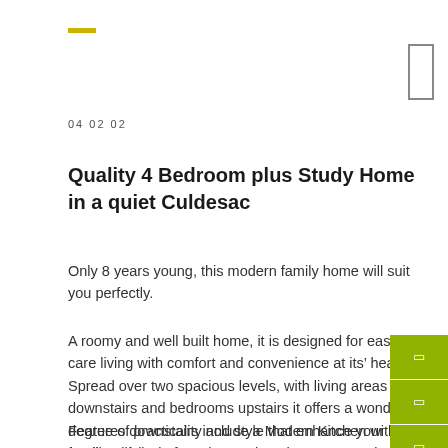04 02 02
Quality 4 Bedroom plus Study Home in a quiet Culdesac
Only 8 years young, this modern family home will suit you perfectly.
A roomy and well built home, it is designed for easy care living with comfort and convenience at its’ heart.
Spread over two spacious levels, with living areas downstairs and bedrooms upstairs it offers a wonderful degree of practicality and style that enhance your families lifestyle for many years to come.
Features downstairs include a Modern Kitchen with quality appliances and stone benchtops, a practical open plan family lounge and dining area, a separate Office/Study Downstairs, Air Conditioning and covered rear patio and landscaped courtyard